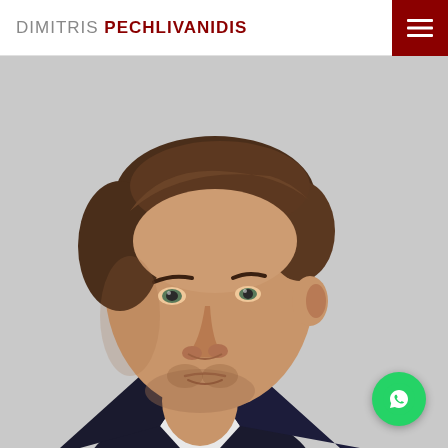DIMITRIS PECHLIVANIDIS
[Figure (photo): Professional headshot of Dimitris Pechlivanidis, a man with brown hair and light stubble, wearing a dark suit and white shirt, facing slightly to the right against a light grey background.]